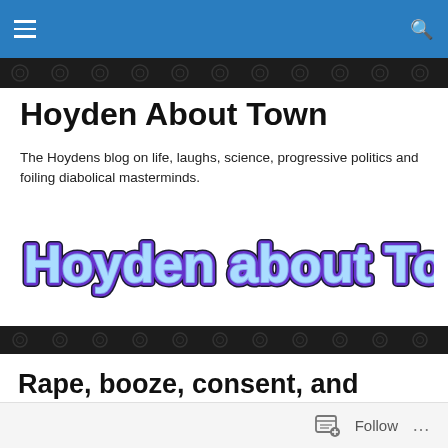Hoyden About Town — navigation bar
Hoyden About Town
The Hoydens blog on life, laughs, science, progressive politics and foiling diabolical masterminds.
[Figure (logo): Hoyden about Town retro-style logo with purple bubble letters and dark outline]
Rape, booze, consent, and concern-trolling: The law can’t “turn you into a rapist”.
Follow